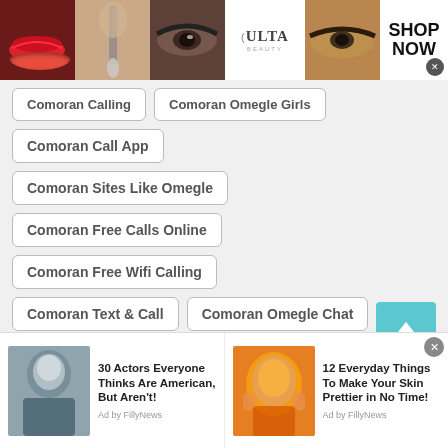[Figure (photo): Top advertisement banner for Ulta Beauty with makeup photos (lips, brush, eye), Ulta Beauty logo, eye photo, and Shop Now button with close X]
Comoran Calling
Comoran Omegle Girls
Comoran Call App
Comoran Sites Like Omegle
Comoran Free Calls Online
Comoran Free Wifi Calling
Comoran Text & Call
Comoran Omegle Chat
Comoran Free Calls Online
Comoran Free Text App
[Figure (photo): Bottom advertisement banner: Left ad shows Bruce Willis photo with headline '30 Actors Everyone Thinks Are American, But Aren't! Ad by FillyNews'. Right ad shows skin care photo with headline '12 Everyday Things To Make Your Skin Prettier in No Time! Ad by FillyNews'. Close X button visible.]